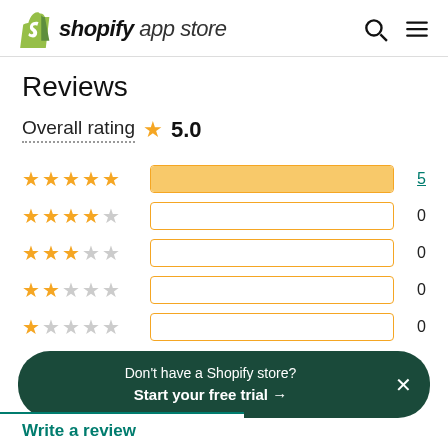shopify app store
Reviews
Overall rating ★ 5.0
[Figure (bar-chart): Rating distribution]
Don't have a Shopify store? Start your free trial →
Write a review